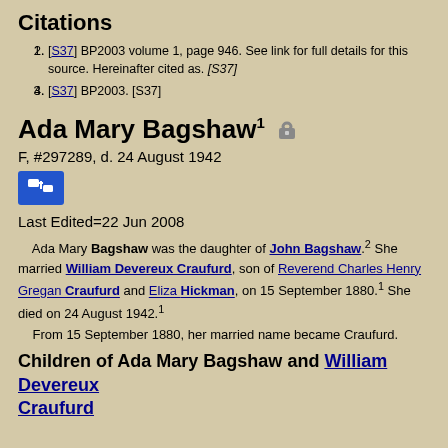Citations
[S37] BP2003 volume 1, page 946. See link for full details for this source. Hereinafter cited as. [S37]
[S37] BP2003. [S37]
Ada Mary Bagshaw1 🔒
F, #297289, d. 24 August 1942
Last Edited=22 Jun 2008
Ada Mary Bagshaw was the daughter of John Bagshaw.2 She married William Devereux Craufurd, son of Reverend Charles Henry Gregan Craufurd and Eliza Hickman, on 15 September 1880.1 She died on 24 August 1942.1 From 15 September 1880, her married name became Craufurd.
Children of Ada Mary Bagshaw and William Devereux Craufurd